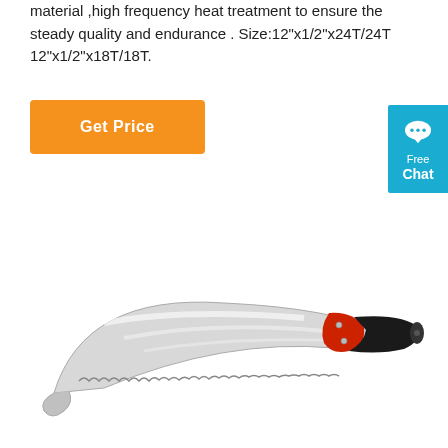material ,high frequency heat treatment to ensure the steady quality and endurance . Size:12"x1/2"x24T/24T 12"x1/2"x18T/18T.
[Figure (other): Orange 'Get Price' button]
[Figure (other): Blue 'Free Chat' widget in the top-right corner with a speech bubble icon]
[Figure (photo): A curved pruning saw / pole saw blade with serrated teeth along the inner curve, a red guard piece near the black rubber grip handle with silver bolts, shown on a white background.]